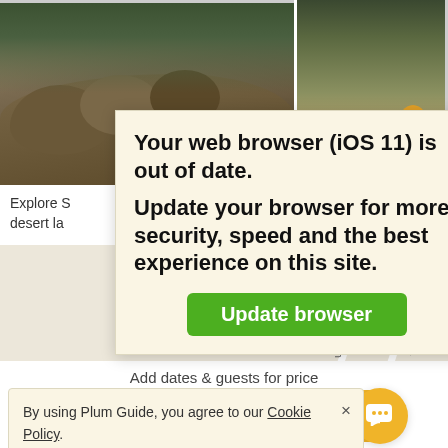[Figure (photo): Top portion of a webpage showing two photos of a desert landscape/resort property, partially obscured by a browser update modal dialog]
Explore S... desert la...
evenin
[Figure (screenshot): Browser update warning modal with cream/yellow background saying 'Your web browser (iOS 11) is out of date. Update your browser for more security, speed and the best experience on this site.' with a green 'Update browser' button]
[Figure (map): Google Maps screenshot showing street map with roads including N Bronco Trail, N Ranch Gate Rd, N Wrangler Rd, E Happy Valley Rd]
By using Plum Guide, you agree to our Cookie Policy.
Add dates & guests for price
CHECK AVAILABILITY